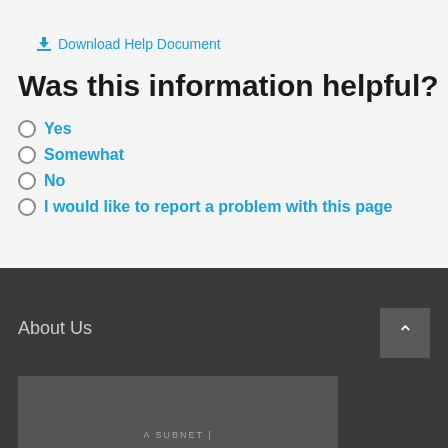⬇ Download Help Document
Was this information helpful?
Yes
Somewhat
No
I would like to report a problem with this page
About Us